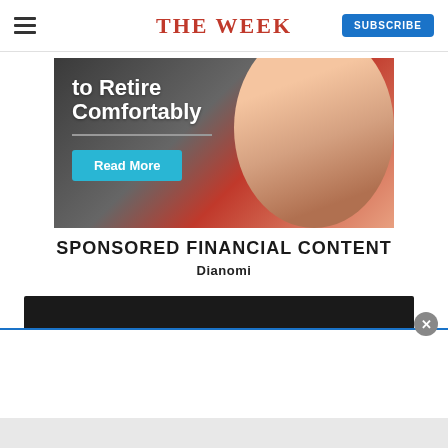THE WEEK
[Figure (photo): Advertisement image showing text 'to Retire Comfortably' with a Read More button and a woman's face in the background]
SPONSORED FINANCIAL CONTENT
Dianomi
[Figure (photo): Dark banner advertisement area with a white overlay popup and close button]